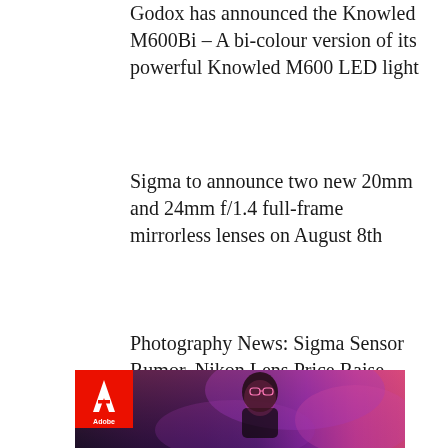Godox has announced the Knowled M600Bi – A bi-colour version of its powerful Knowled M600 LED light
Sigma to announce two new 20mm and 24mm f/1.4 full-frame mirrorless lenses on August 8th
Photography News: Sigma Sensor Rumor, Nikon Lens Price Raise
[Figure (photo): Person wearing glasses in neon purple and pink lighting with Adobe logo badge in upper left corner]